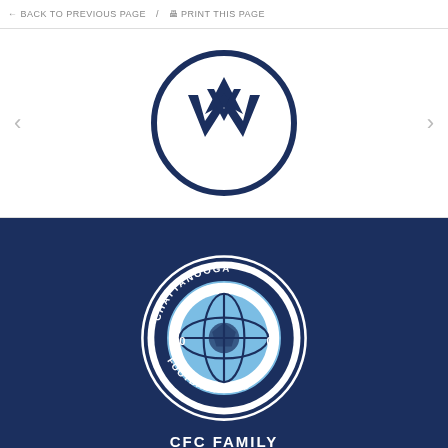← BACK TO PREVIOUS PAGE  /  🖶 PRINT THIS PAGE
[Figure (logo): Volkswagen (VW) logo — dark navy circle with the VW monogram inside, on a white background, with left and right navigation arrows on either side]
[Figure (logo): Chattanooga Football Club (CFC) crest logo — circular badge with 'CHATTANOOGA' text around the top, a soccer ball in the center, '20' on the left and '09' on the right, and 'FOOTBALL CLUB' text around the bottom, in light blue on a dark navy background]
CFC FAMILY